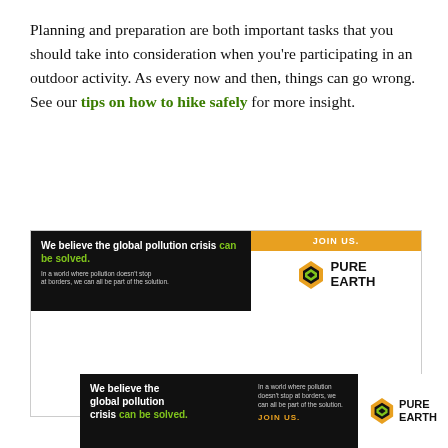Planning and preparation are both important tasks that you should take into consideration when you're participating in an outdoor activity. As every now and then, things can go wrong. See our tips on how to hike safely for more insight.
[Figure (other): Pure Earth advertisement banner: black left panel with text 'We believe the global pollution crisis can be solved.' in white and green, and smaller white text 'In a world where pollution doesn't stop at borders, we can all be part of the solution.' Right panel with orange JOIN US. banner and Pure Earth logo with diamond icon.]
[Figure (other): Pure Earth bottom banner advertisement: black background with 'We believe the global pollution crisis can be solved.' in white and green, followed by body text in gray and 'JOIN US.' in orange. Right side white panel with Pure Earth diamond logo and bold text.]